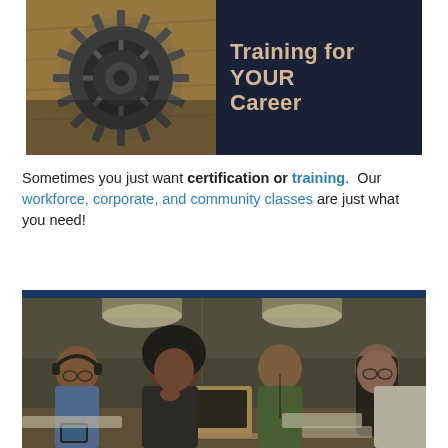[Figure (photo): Left half: photo of industrial metal gear/cog on wooden surface. Right half: dark navy background with large beige/tan bold text reading 'Training for YOUR Career'.]
Sometimes you just want certification or training.  Our workforce, corporate, and community classes are just what you need!
[Figure (photo): Photo of four diverse young adults studying together at a table in an industrial or warehouse-style room with bright overhead lighting. One person uses a laptop, others read or write. Dark navy bar at the top.]